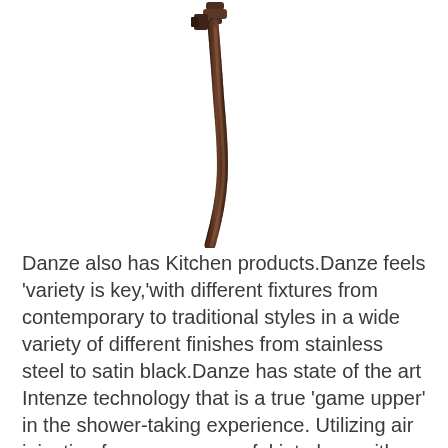[Figure (photo): A close-up photograph of a dark bronze/oil-rubbed bronze flexible shower hose with a connector fitting at the top, curving downward against a white background.]
Danze also has Kitchen products.Danze feels 'variety is key,'with different fixtures from contemporary to traditional styles in a wide variety of different finishes from stainless steel to satin black.Danze has state of the art Intenze technology that is a true 'game upper' in the shower-taking experience. Utilizing air injection for a more powerful jet along with pressure